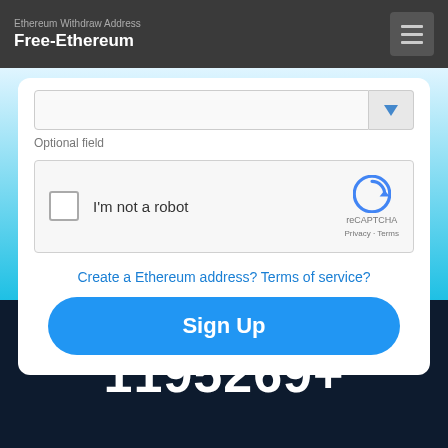Free-Ethereum
Ethereum Withdraw Address
Optional field
[Figure (screenshot): reCAPTCHA widget with checkbox labeled 'I'm not a robot' and reCAPTCHA branding with Privacy and Terms links]
Create a Ethereum address? Terms of service?
Sign Up
1195269+